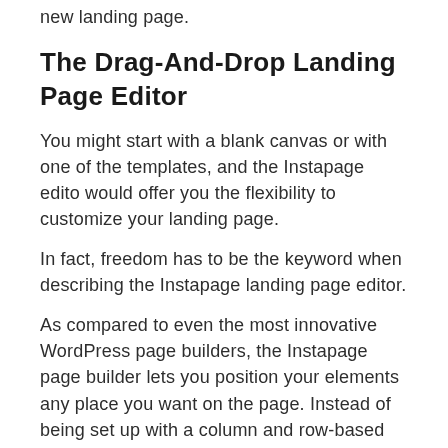new landing page.
The Drag-And-Drop Landing Page Editor
You might start with a blank canvas or with one of the templates, and the Instapage edito would offer you the flexibility to customize your landing page.
In fact, freedom has to be the keyword when describing the Instapage landing page editor.
As compared to even the most innovative WordPress page builders, the Instapage page builder lets you position your elements any place you want on the page. Instead of being set up with a column and row-based structure